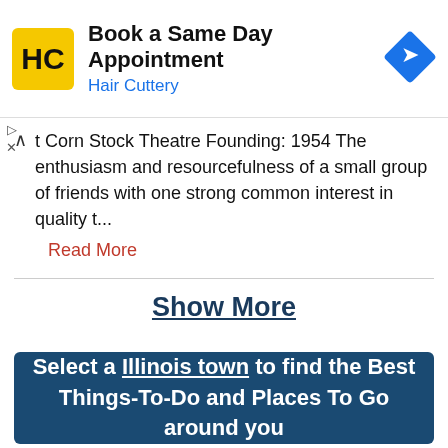[Figure (advertisement): Hair Cuttery ad banner: logo (HC on yellow background), text 'Book a Same Day Appointment', 'Hair Cuttery', and blue navigation/turn icon on the right]
t Corn Stock Theatre Founding: 1954 The enthusiasm and resourcefulness of a small group of friends with one strong common interest in quality t...
Read More
Show More
Select a Illinois town to find the Best Things-To-Do and Places To Go around you